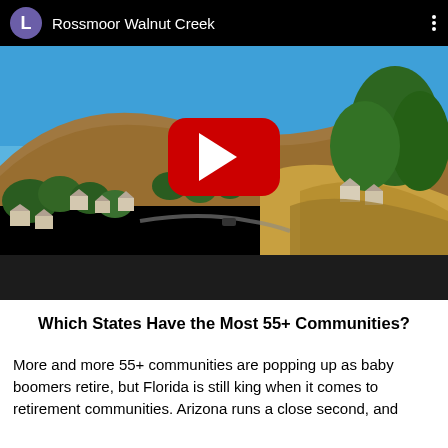[Figure (screenshot): YouTube video thumbnail showing a hillside landscape with trees, homes, and a blue sky. The video is titled 'Rossmoor Walnut Creek' with a purple avatar showing 'L' and a YouTube play button overlay in the center.]
Which States Have the Most 55+ Communities?
More and more 55+ communities are popping up as baby boomers retire, but Florida is still king when it comes to retirement communities. Arizona runs a close second, and